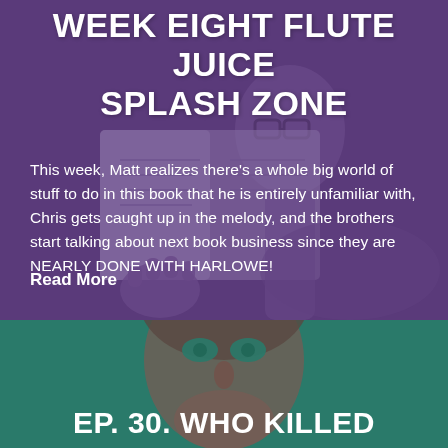[Figure (illustration): Purple-tinted illustration of a person reading a book, serving as background for the top section]
WEEK EIGHT FLUTE JUICE SPLASH ZONE
This week, Matt realizes there's a whole big world of stuff to do in this book that he is entirely unfamiliar with, Chris gets caught up in the melody, and the brothers start talking about next book business since they are NEARLY DONE WITH HARLOWE!
Read More
[Figure (illustration): Teal-tinted illustration of a face/person, serving as background for the bottom section]
EP. 30. WHO KILLED